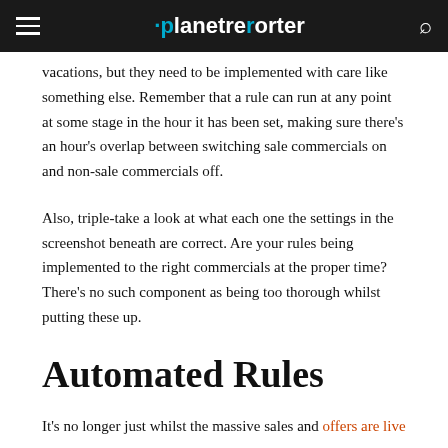planetreporter
vacations, but they need to be implemented with care like something else. Remember that a rule can run at any point at some stage in the hour it has been set, making sure there's an hour's overlap between switching sale commercials on and non-sale commercials off.
Also, triple-take a look at what each one the settings in the screenshot beneath are correct. Are your rules being implemented to the right commercials at the proper time? There's no such component as being too thorough whilst putting these up.
Automated Rules
It's no longer just whilst the massive sales and offers are live